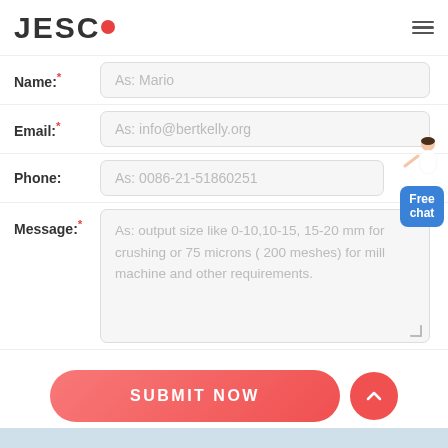[Figure (logo): JESCO logo with red dot between C and O letters]
Name:* As: Mario
Email:* As: info@bertkelly.org
Phone: As: 0086-21-51860251
Message:* As: output size like 0-10,10-15, 15-20 mm for crushing or 75 microns ( 200 meshes) for mill machine and other requirements.
Free chat
SUBMIT NOW